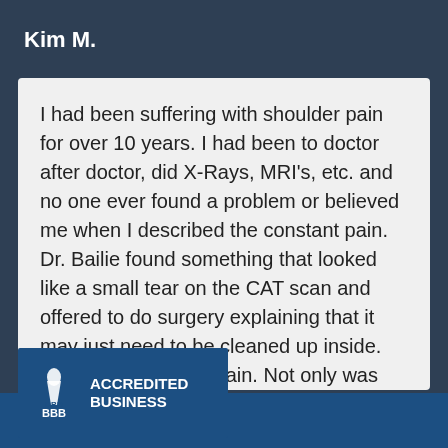Kim M.
I had been suffering with shoulder pain for over 10 years. I had been to doctor after doctor, did X-Rays, MRI's, etc. and no one ever found a problem or believed me when I described the constant pain. Dr. Bailie found something that looked like a small tear on the CAT scan and offered to do surgery explaining that it may just need to be cleaned up inside. He cared about my pain. Not only was there a rotator cuff tear, there were two and they were complex. My shoulder no longer hurts and the physical therapists he sent me to, Accelerated Physical Therapy were great!
[Figure (logo): BBB Accredited Business logo with torch emblem and text reading ACCREDITED BUSINESS BBB]